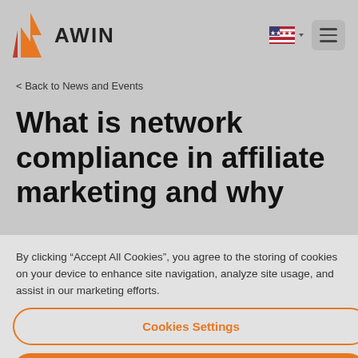[Figure (logo): Awin logo with orange flame/wing icon and 'AWIN' text in dark bold lettering]
< Back to News and Events
What is network compliance in affiliate marketing and why
By clicking “Accept All Cookies”, you agree to the storing of cookies on your device to enhance site navigation, analyze site usage, and assist in our marketing efforts.
Cookies Settings
Reject All
Accept All Cookies